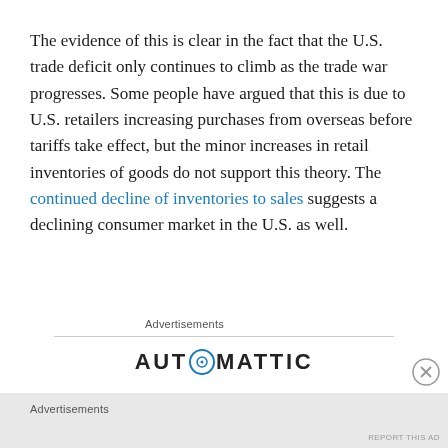The evidence of this is clear in the fact that the U.S. trade deficit only continues to climb as the trade war progresses. Some people have argued that this is due to U.S. retailers increasing purchases from overseas before tariffs take effect, but the minor increases in retail inventories of goods do not support this theory. The continued decline of inventories to sales suggests a declining consumer market in the U.S. as well.
Advertisements
[Figure (logo): Automattic company logo — uppercase sans-serif text with a circular compass/target icon replacing the letter O in AUTOMATTIC]
Advertisements